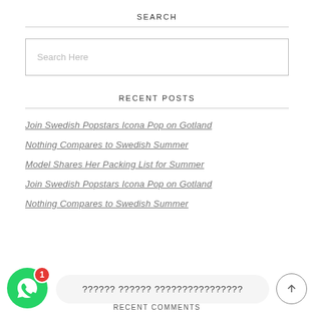SEARCH
Search Here
RECENT POSTS
Join Swedish Popstars Icona Pop on Gotland
Nothing Compares to Swedish Summer
Model Shares Her Packing List for Summer
Join Swedish Popstars Icona Pop on Gotland
Nothing Compares to Swedish Summer
?????? ?????? ????????????????
RECENT COMMENTS